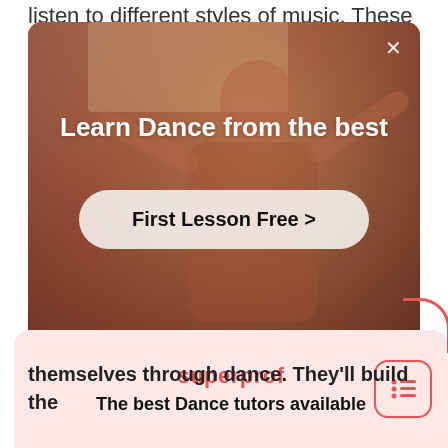listen to different styles of music. These
[Figure (screenshot): A promotional modal overlay on a webpage showing a dance instructor in a studio with warm reddish tones. The modal contains the title 'Learn Dance from the best' in white bold text, and a white pill-shaped button with 'First Lesson Free >' in bold dark text. A close (X) button is in the top right corner of the modal.]
themselves through dance. They'll build the foundations for becoming a professional dancer in the future.
[Figure (screenshot): Superprof app/website banner with pink background showing 'superprof' in red text and 'The best Dance tutors available' in bold black text, with a menu icon button on the right side.]